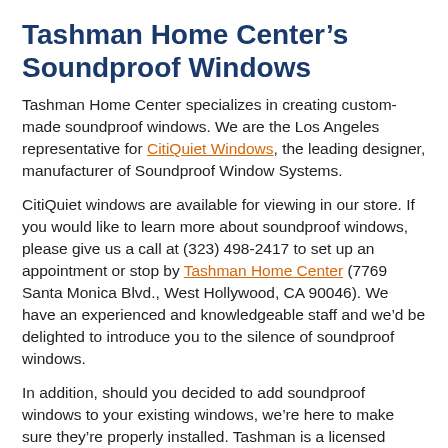Tashman Home Center’s Soundproof Windows
Tashman Home Center specializes in creating custom-made soundproof windows. We are the Los Angeles representative for CitiQuiet Windows, the leading designer, manufacturer of Soundproof Window Systems.
CitiQuiet windows are available for viewing in our store. If you would like to learn more about soundproof windows, please give us a call at (323) 498-2417 to set up an appointment or stop by Tashman Home Center (7769 Santa Monica Blvd., West Hollywood, CA 90046). We have an experienced and knowledgeable staff and we’d be delighted to introduce you to the silence of soundproof windows.
In addition, should you decided to add soundproof windows to your existing windows, we’re here to make sure they’re properly installed. Tashman is a licensed contractor (Lic # 298720) as well as a certified Installation Master specializing